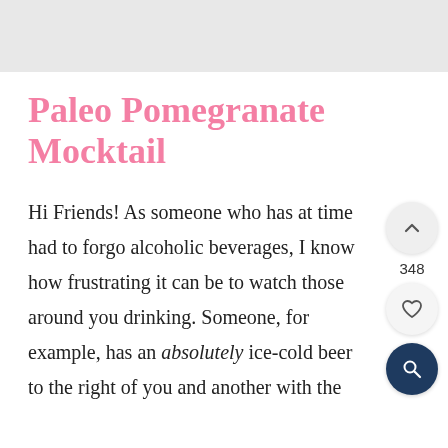[Figure (other): Gray header banner image area at top of page]
Paleo Pomegranate Mocktail
Hi Friends! As someone who has at times had to forgo alcoholic beverages, I know how frustrating it can be to watch those around you drinking. Someone, for example, has an absolutely ice-cold beer to the right of you and another with the